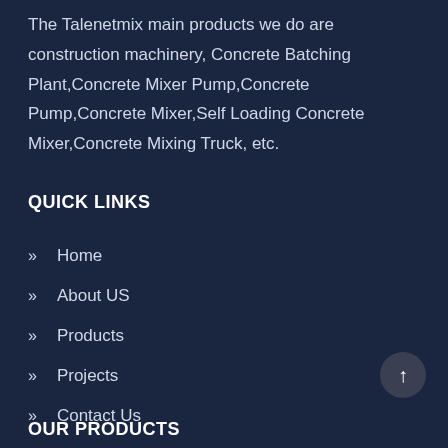The Talenetmix main products we do are construction machinery, Concrete Batching Plant,Concrete Mixer Pump,Concrete Pump,Concrete Mixer,Self Loading Concrete Mixer,Concrete Mixing Truck, etc.
QUICK LINKS
Home
About US
Products
Projects
Contact Us
OUR PRODUCTS